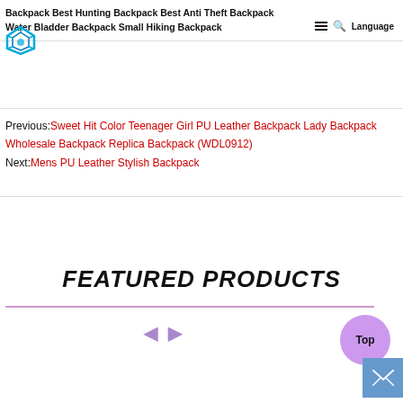Backpack Best Hunting Backpack Best Anti Theft Backpack Water Bladder Backpack Small Hiking Backpack
Previous: Sweet Hit Color Teenager Girl PU Leather Backpack Lady Backpack Wholesale Backpack Replica Backpack (WDL0912)
Next: Mens PU Leather Stylish Backpack
FEATURED PRODUCTS